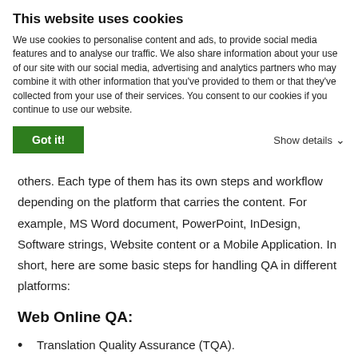This website uses cookies
We use cookies to personalise content and ads, to provide social media features and to analyse our traffic. We also share information about your use of our site with our social media, advertising and analytics partners who may combine it with other information that you've provided to them or that they've collected from your use of their services. You consent to our cookies if you continue to use our website.
Got it!   Show details ▾
others. Each type of them has its own steps and workflow depending on the platform that carries the content. For example, MS Word document, PowerPoint, InDesign, Software strings, Website content or a Mobile Application. In short, here are some basic steps for handling QA in different platforms:
Web Online QA:
Translation Quality Assurance (TQA).
Deploy the translated content (in Draft mode) first.
Grant access rights for the reviewers.